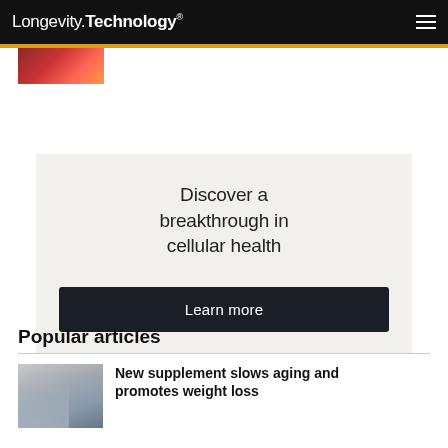Longevity.Technology®
[Figure (photo): Small thumbnail image with reddish tones at top left below header]
[Figure (infographic): Advertisement box with light beige background. Text: 'Discover a breakthrough in cellular health' with a dark 'Learn more' button below.]
Popular articles
[Figure (photo): Small thumbnail of a person, greyscale tones, next to article headline]
New supplement slows aging and promotes weight loss